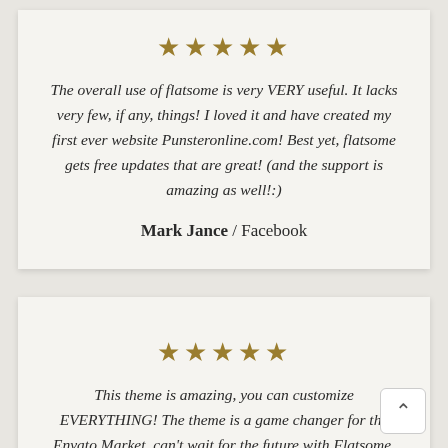★★★★★ The overall use of flatsome is very VERY useful. It lacks very few, if any, things! I loved it and have created my first ever website Punsteronline.com! Best yet, flatsome gets free updates that are great! (and the support is amazing as well!:)
Mark Jance / Facebook
★★★★★ This theme is amazing, you can customize EVERYTHING! The theme is a game changer for the Envato Market, can't wait for the future with Flatsome. Soo many good experiences from this, THANKS!